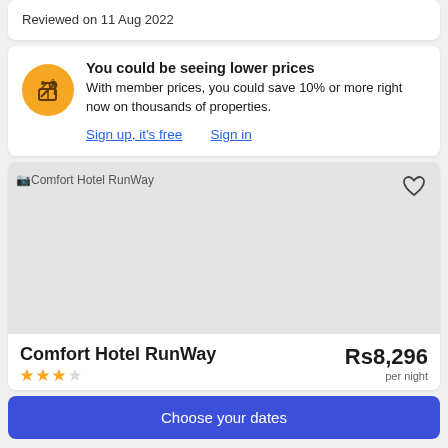Reviewed on 11 Aug 2022
You could be seeing lower prices
With member prices, you could save 10% or more right now on thousands of properties.
Sign up, it's free   Sign in
[Figure (illustration): Orange circular icon with a price tag symbol]
Comfort Hotel RunWay
[Figure (photo): Comfort Hotel RunWay hotel image placeholder]
Comfort Hotel RunWay   Rs8,296 per night
Choose your dates